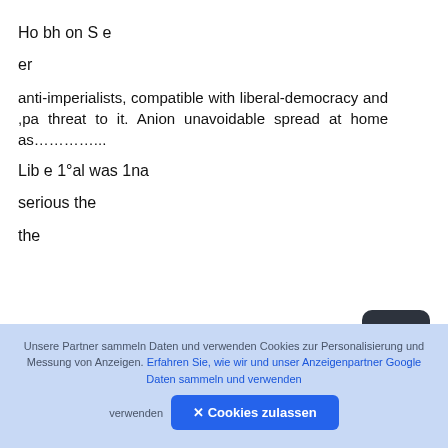Ho bh on S e
er
anti-imperialists, compatible with liberal-democracy and ,pa threat to it. Anion unavoidable spread at home as…………..
Lib e 1°al was 1na
serious the
the
[Figure (other): Dark rounded square button with a circular upload/arrow icon in the center]
Unsere Partner sammeln Daten und verwenden Cookies zur Personalisierung und Messung von Anzeigen. Erfahren Sie, wie wir und unser Anzeigenpartner Google Daten sammeln und verwenden
✕ Cookies zulassen